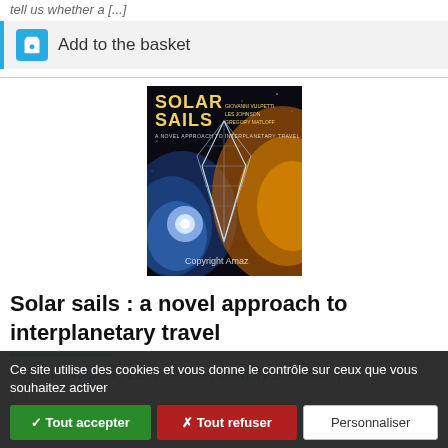tell us whether a [...]
Add to the basket
[Figure (photo): Book cover of 'Solar Sails: A Novel Approach to Interplanetary Travel' with authors Giovanni Vulpetti, Les Johnson, Gregory Matloff. Dark background with a solar sail and space imagery. Copyright Amazon watermark visible.]
Solar sails : a novel approach to interplanetary travel
Giovanni Vulpetti ; Les Johnson ; Gregory L. Matloff |
Ce site utilise des cookies et vous donne le contrôle sur ceux que vous souhaitez activer
✓ Tout accepter   ✗ Tout refuser   Personnaliser